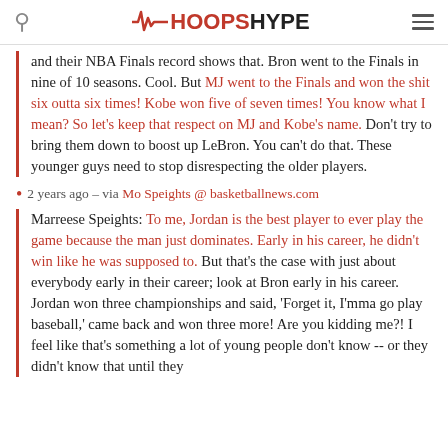HoopsHype
and their NBA Finals record shows that. Bron went to the Finals in nine of 10 seasons. Cool. But MJ went to the Finals and won the shit six outta six times! Kobe won five of seven times! You know what I mean? So let's keep that respect on MJ and Kobe's name. Don't try to bring them down to boost up LeBron. You can't do that. These younger guys need to stop disrespecting the older players.
2 years ago – via Mo Speights @ basketballnews.com
Marreese Speights: To me, Jordan is the best player to ever play the game because the man just dominates. Early in his career, he didn't win like he was supposed to. But that's the case with just about everybody early in their career; look at Bron early in his career. Jordan won three championships and said, 'Forget it, I'mma go play baseball,' came back and won three more! Are you kidding me?! I feel like that's something a lot of young people don't know -- or they didn't know that until they